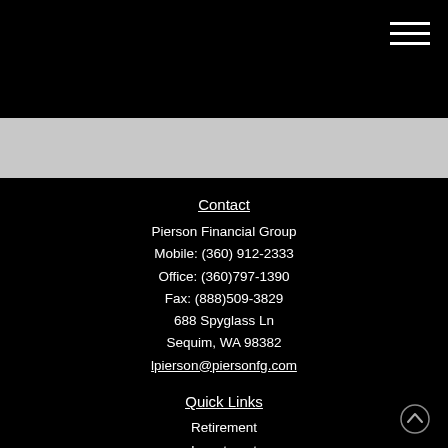[Figure (other): Hamburger menu icon (three horizontal white lines) in top-right corner on black background]
Contact
Pierson Financial Group
Mobile: (360) 912-2333
Office: (360)797-1390
Fax: (888)509-3829
688 Spyglass Ln
Sequim, WA 98382
lpierson@piersonfg.com
Quick Links
Retirement
Investment
Estate
Insurance
Tax